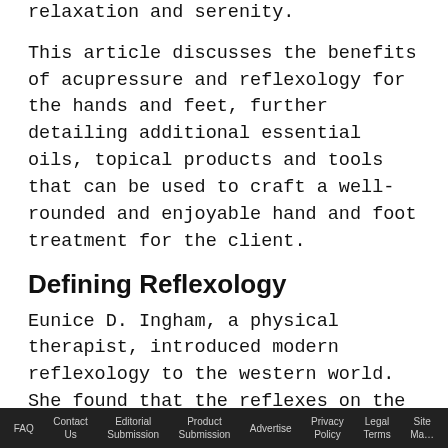relaxation and serenity.
This article discusses the benefits of acupressure and reflexology for the hands and feet, further detailing additional essential oils, topical products and tools that can be used to craft a well-rounded and enjoyable hand and foot treatment for the client.
Defining Reflexology
Eunice D. Ingham, a physical therapist, introduced modern reflexology to the western world. She found that the reflexes on the hands and feet are a mirror image of all the organs, glands and parts of the body and that the reflexes in it
FAQ   Contact Us   Editorial Submission   Product Submission   Advertise   Privacy Policy   Legal Terms   Site Map